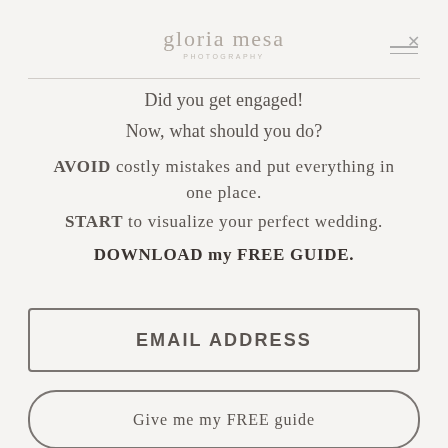gloria mesa PHOTOGRAPHY
Did you get engaged!
Now, what should you do?
AVOID costly mistakes and put everything in one place. START to visualize your perfect wedding.
DOWNLOAD my FREE GUIDE.
EMAIL ADDRESS
Give me my FREE guide